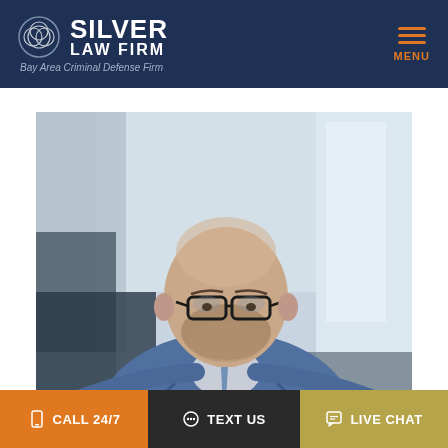SILVER LAW FIRM — Bay Area Criminal Defense Firm
[Figure (photo): Professional headshot of a middle-aged man with glasses, salt-and-pepper beard, wearing a blue suit jacket and blue tie, against a blurred indoor background.]
CALL 24/7 | TEXT US | LIVE CHAT